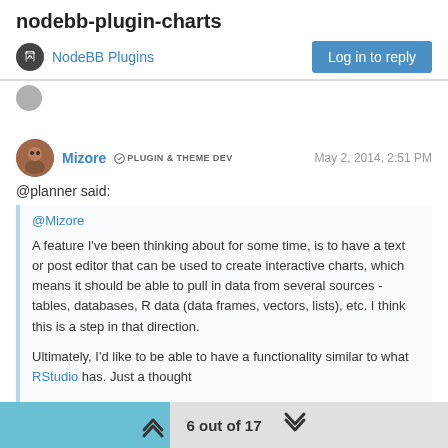nodebb-plugin-charts
NodeBB Plugins
Log in to reply
Mizore  PLUGIN & THEME DEV  May 2, 2014, 2:51 PM
@planner said:
@Mizore

A feature I've been thinking about for some time, is to have a text or post editor that can be used to create interactive charts, which means it should be able to pull in data from several sources - tables, databases, R data (data frames, vectors, lists), etc. I think this is a step in that direction.

Ultimately, I'd like to be able to have a functionality similar to what RStudio has. Just a thought

Btw, could you post the data used to render the graph in the OP.
6 out of 17